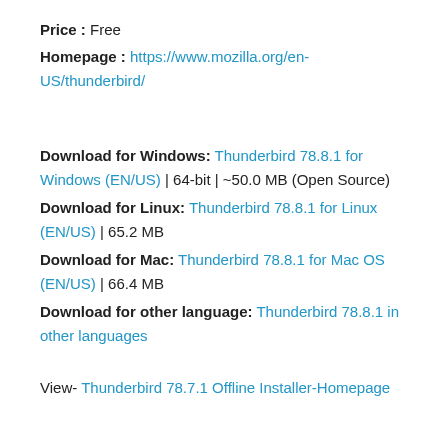Price : Free
Homepage : https://www.mozilla.org/en-US/thunderbird/
Download for Windows: Thunderbird 78.8.1 for Windows (EN/US) | 64-bit | ~50.0 MB (Open Source)
Download for Linux: Thunderbird 78.8.1 for Linux (EN/US) | 65.2 MB
Download for Mac: Thunderbird 78.8.1 for Mac OS (EN/US) | 66.4 MB
Download for other language: Thunderbird 78.8.1 in other languages
View- Thunderbird 78.7.1 Offline Installer-Homepage